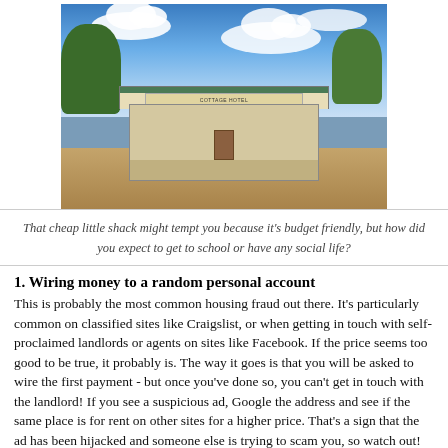[Figure (photo): Old weathered building labeled 'Cottage Hotel' with a porch, set in a dry rural landscape with trees and a blue cloudy sky]
That cheap little shack might tempt you because it's budget friendly, but how did you expect to get to school or have any social life?
1. Wiring money to a random personal account
This is probably the most common housing fraud out there. It's particularly common on classified sites like Craigslist, or when getting in touch with self-proclaimed landlords or agents on sites like Facebook. If the price seems too good to be true, it probably is. The way it goes is that you will be asked to wire the first payment - but once you've done so, you can't get in touch with the landlord! If you see a suspicious ad, Google the address and see if the same place is for rent on other sites for a higher price. That's a sign that the ad has been hijacked and someone else is trying to scam you, so watch out! Our